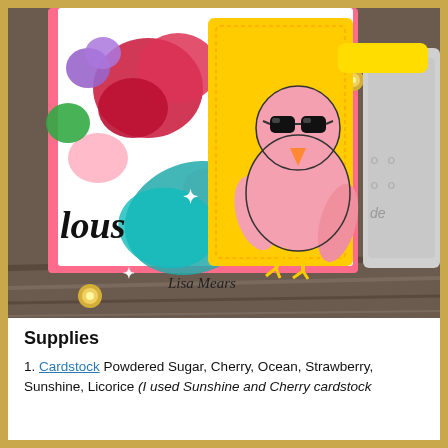[Figure (photo): A colorful handmade greeting card featuring a pink cartoon parrot wearing black sunglasses, surrounded by tropical hibiscus flowers in red, pink, purple, green colors, with gold rhinestones, on a yellow card background. The word 'lous' is visible in bold black script. A signature reads 'Lisa Mears'. A silver die-cut and a yellow scalloped card are visible to the right. The card sits on a wooden surface.]
Supplies
Cardstock Powdered Sugar, Cherry, Ocean, Strawberry, Sunshine, Licorice (I used Sunshine and Cherry cardstock ...